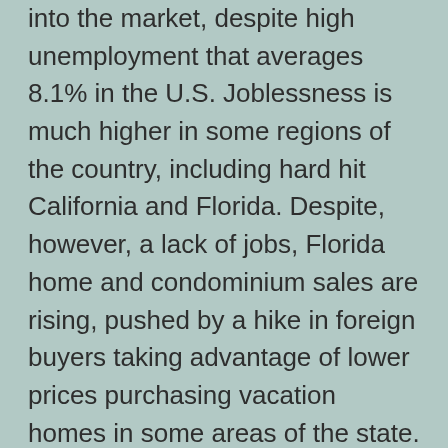into the market, despite high unemployment that averages 8.1% in the U.S. Joblessness is much higher in some regions of the country, including hard hit California and Florida. Despite, however, a lack of jobs, Florida home and condominium sales are rising, pushed by a hike in foreign buyers taking advantage of lower prices purchasing vacation homes in some areas of the state.
The refinance share of mortgages, however, rose just 1.3% from the prior week, declining to the lowest percentage of activity since last winter.